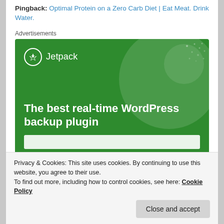Pingback: Optimal Protein on a Zero Carb Diet | Eat Meat. Drink Water.
Advertisements
[Figure (screenshot): Jetpack advertisement banner with green background, Jetpack logo at top left, and text 'The best real-time WordPress backup plugin']
Privacy & Cookies: This site uses cookies. By continuing to use this website, you agree to their use. To find out more, including how to control cookies, see here: Cookie Policy
Close and accept